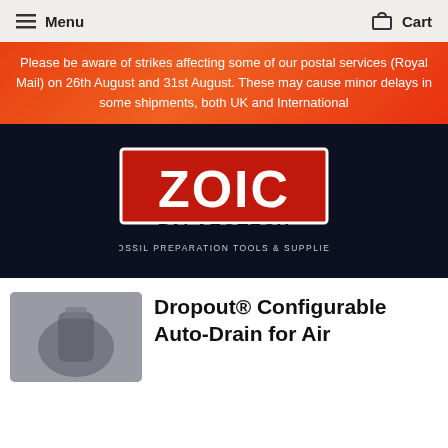Menu   Cart
Please be aware of strikes affecting some of our postal services (Royal Mail) on 26th August and 31st August. These may cause minor delays in some shipments, both UK and International
[Figure (logo): ZOIC PALAEOTECH - FOSSIL PREPARATION TOOLS & SUPPLIES logo on dark background, red rectangle with white ZOIC text, black PALAEOTECH below]
[Figure (photo): Blurred product photo of Dropout Configurable Auto-Drain device]
Dropout® Configurable Auto-Drain for Air